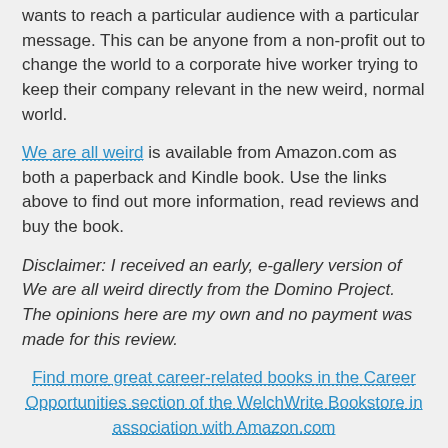wants to reach a particular audience with a particular message. This can be anyone from a non-profit out to change the world to a corporate hive worker trying to keep their company relevant in the new weird, normal world.
We are all weird is available from Amazon.com as both a paperback and Kindle book. Use the links above to find out more information, read reviews and buy the book.
Disclaimer: I received an early, e-gallery version of We are all weird directly from the Domino Project. The opinions here are my own and no payment was made for this review.
Find more great career-related books in the Career Opportunities section of the WelchWrite Bookstore in association with Amazon.com
[Figure (other): Row of social media share buttons: Twitter (light blue), Facebook (dark blue), Google (red), Pinterest (dark red), grey button, green button, yellow button]